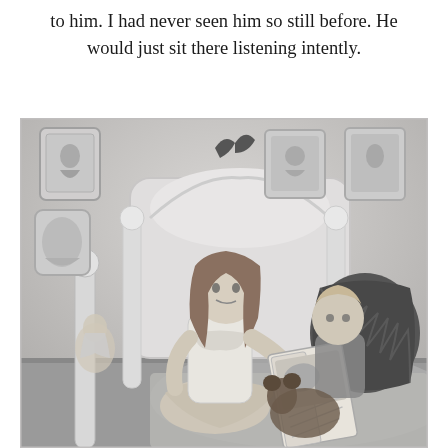to him. I had never seen him so still before. He would just sit there listening intently.
[Figure (photo): Black and white photograph of two young children sitting on a bed. An older girl with long hair is reading a book aloud to a younger toddler. They are sitting against a white ornate headboard. Decorative framed pictures hang on the wall behind them, and a dark ruffled pillow is visible to the right. A stuffed animal toy is also visible.]